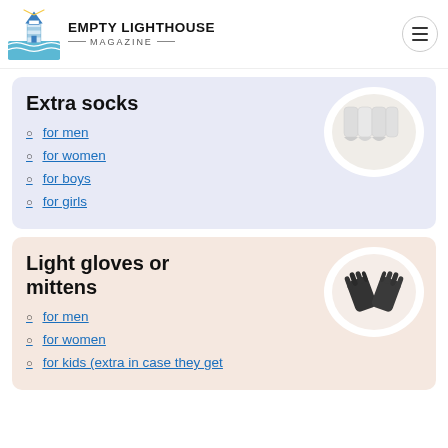EMPTY LIGHTHOUSE MAGAZINE
Extra socks
[Figure (photo): White ankle socks bundled together]
for men
for women
for boys
for girls
Light gloves or mittens
[Figure (photo): Dark gray knit gloves crossed over each other]
for men
for women
for kids (extra in case they get